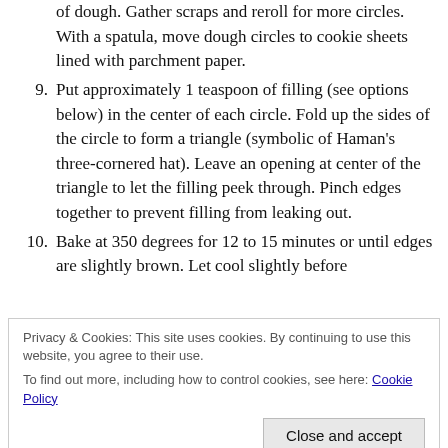(continuation) of dough. Gather scraps and reroll for more circles. With a spatula, move dough circles to cookie sheets lined with parchment paper.
9. Put approximately 1 teaspoon of filling (see options below) in the center of each circle. Fold up the sides of the circle to form a triangle (symbolic of Haman’s three-cornered hat). Leave an opening at center of the triangle to let the filling peek through. Pinch edges together to prevent filling from leaking out.
10. Bake at 350 degrees for 12 to 15 minutes or until edges are slightly brown. Let cool slightly before
Privacy & Cookies: This site uses cookies. By continuing to use this website, you agree to their use. To find out more, including how to control cookies, see here: Cookie Policy
Yield: About 18 to 24 hamantaschen